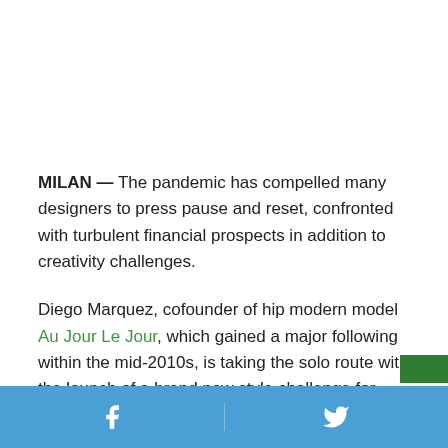MILAN — The pandemic has compelled many designers to press pause and reset, confronted with turbulent financial prospects in addition to creativity challenges.
Diego Marquez, cofounder of hip modern model Au Jour Le Jour, which gained a major following within the mid-2010s, is taking the solo route with the launch of a brand new style challenge for spring 2022 known as Diego-Go.
Facebook | Twitter